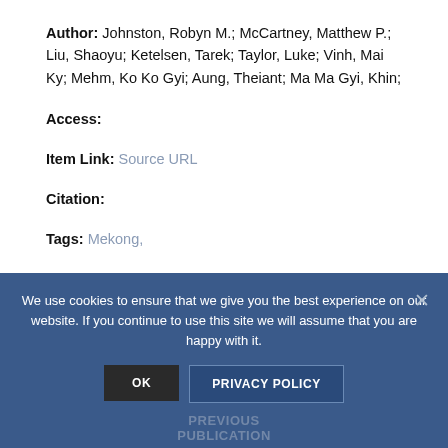Author: Johnston, Robyn M.; McCartney, Matthew P.; Liu, Shaoyu; Ketelsen, Tarek; Taylor, Luke; Vinh, Mai Ky; Mehm, Ko Ko Gyi; Aung, Theiant; Ma Ma Gyi, Khin;
Access:
Item Link: Source URL
Citation:
Tags: Mekong,
DOWNLOAD FILE
We use cookies to ensure that we give you the best experience on our website. If you continue to use this site we will assume that you are happy with it.
OK
PRIVACY POLICY
PREVIOUS PUBLICATION